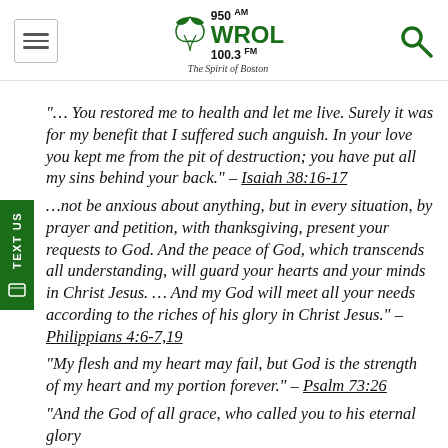950 AM WROL 100.3 FM The Spirit of Boston
"... You restored me to health and let me live. Surely it was for my benefit that I suffered such anguish. In your love you kept me from the pit of destruction; you have put all my sins behind your back." – Isaiah 38:16-17
...not be anxious about anything, but in every situation, by prayer and petition, with thanksgiving, present your requests to God. And the peace of God, which transcends all understanding, will guard your hearts and your minds in Christ Jesus. ... And my God will meet all your needs according to the riches of his glory in Christ Jesus." – Philippians 4:6-7,19
"My flesh and my heart may fail, but God is the strength of my heart and my portion forever." – Psalm 73:26
"And the God of all grace, who called you to his eternal glory